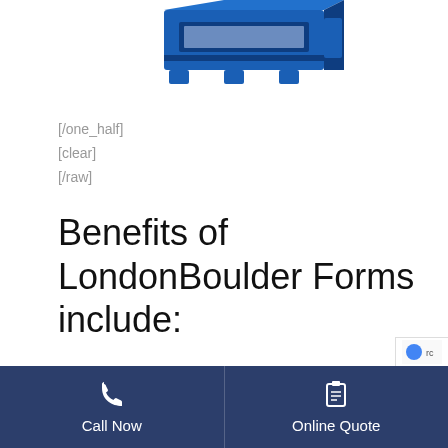[Figure (photo): Blue industrial formwork or concrete form product photographed at an angle against a white background, partially cropped at the top.]
[/one_half]
[clear]
[/raw]
Benefits of LondonBoulder Forms include:
Lifetime Warranty – Full support on every form.
100% Results FREE forms – Keep more…
Call Now | Online Quote